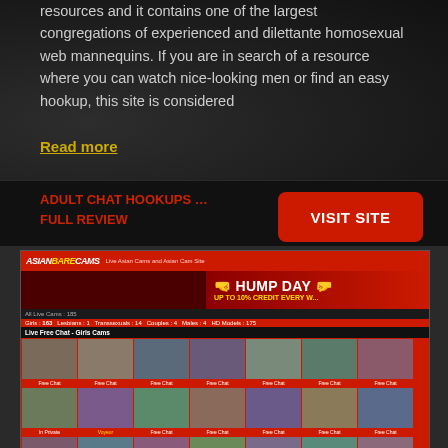resources and it contains one of the largest congregations of experienced and dilettante homosexual web mannequins. If you are in search of a resource where you can watch nice-looking men or find an easy hookup, this site is considered
Read more
ADULT CHAT HOOKUPS …
FULL REVIEW
VISIT SITE
[Figure (screenshot): Screenshot of AsianBareCams website showing red header with logo, Hump Day promotional banner, navigation categories (Girls, Lesbians, Transsexuals, Couples, Males, HD Models), Live Free Chat Girls Cams section with thumbnail grid of cam models, multiple rows of model thumbnails with Free Chat labels]